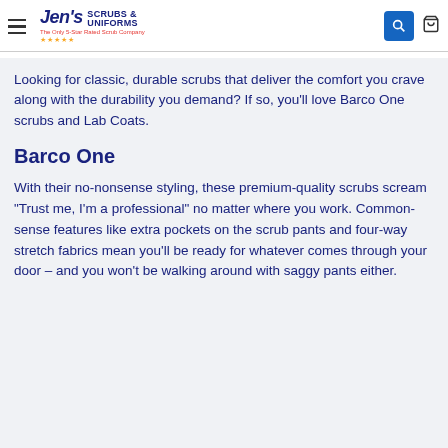Jen's Scrubs & Uniforms — The Only 5-Star Rated Scrub Company
Looking for classic, durable scrubs that deliver the comfort you crave along with the durability you demand? If so, you'll love Barco One scrubs and Lab Coats.
Barco One
With their no-nonsense styling, these premium-quality scrubs scream "Trust me, I'm a professional" no matter where you work. Common-sense features like extra pockets on the scrub pants and four-way stretch fabrics mean you'll be ready for whatever comes through your door – and you won't be walking around with saggy pants either.